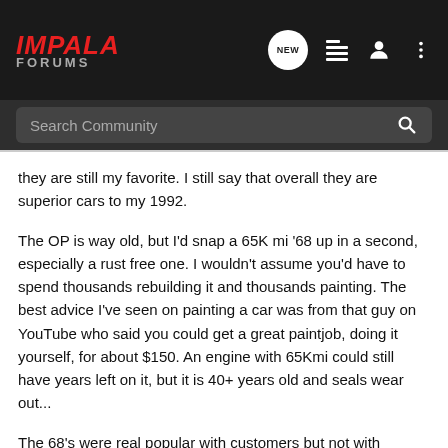IMPALA FORUMS
Search Community
they are still my favorite. I still say that overall they are superior cars to my 1992.
The OP is way old, but I'd snap a 65K mi '68 up in a second, especially a rust free one. I wouldn't assume you'd have to spend thousands rebuilding it and thousands painting. The best advice I've seen on painting a car was from that guy on YouTube who said you could get a great paintjob, doing it yourself, for about $150. An engine with 65Kmi could still have years left on it, but it is 40+ years old and seals wear out...
The 68's were real popular with customers but not with modders, so there's not the following that other years have. But lots of parts fit from other years and parts like fuel pumps etc... are ridiculously cheap.